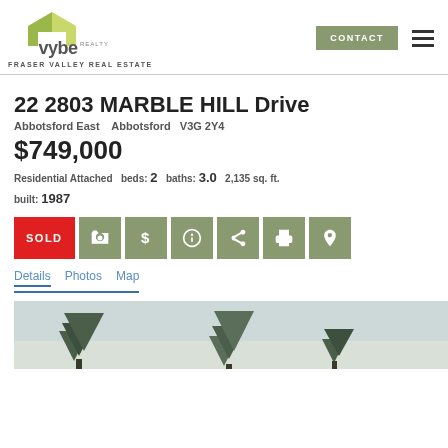[Figure (logo): Vybe Realty logo with green house icon and text 'FRASER VALLEY REAL ESTATE']
22 2803 MARBLE HILL Drive
Abbotsford East   Abbotsford   V3G 2Y4
$749,000
Residential Attached  beds: 2  baths: 3.0  2,135 sq. ft.  built: 1987
SOLD
Details  Photos  Map
[Figure (photo): Exterior photo of property with trees and overcast sky]